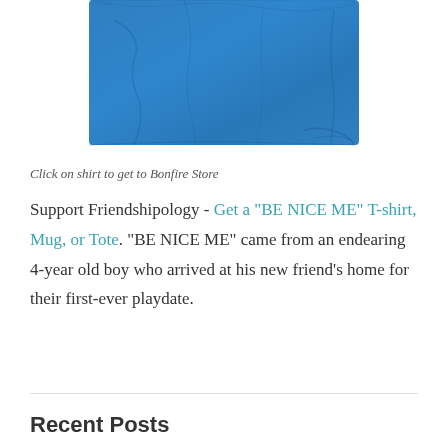[Figure (photo): A blue t-shirt laid flat, partially visible at the top of the page]
Click on shirt to get to Bonfire Store
Support Friendshipology - Get a "BE NICE ME" T-shirt, Mug, or Tote. "BE NICE ME" came from an endearing 4-year old boy who arrived at his new friend's home for their first-ever playdate.
Recent Posts